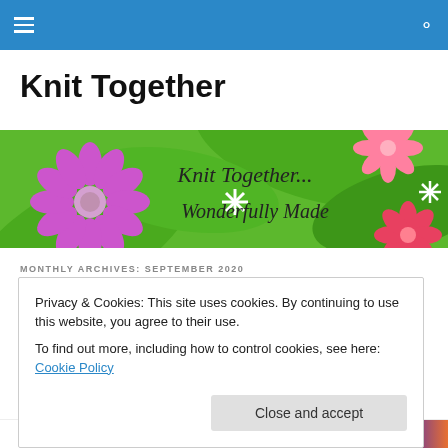Knit Together — navigation bar with hamburger menu and search icon
Knit Together
[Figure (illustration): Decorative banner with green leaf background, purple daisy flower on left, pink flowers on right, red-pink flower bottom right, white star/snowflake accents, and cursive text reading 'Knit Together... Wonderfully Made']
MONTHLY ARCHIVES: SEPTEMBER 2020
Privacy & Cookies: This site uses cookies. By continuing to use this website, you agree to their use.
To find out more, including how to control cookies, see here: Cookie Policy
Close and accept